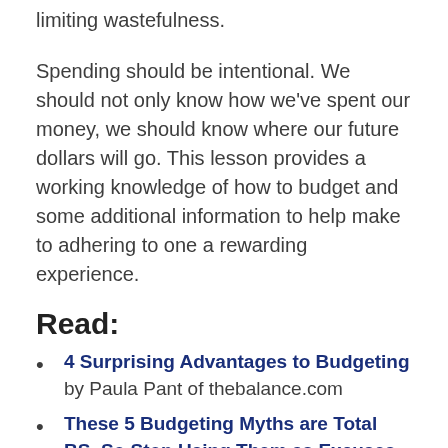limiting wastefulness.
Spending should be intentional. We should not only know how we've spent our money, we should know where our future dollars will go. This lesson provides a working knowledge of how to budget and some additional information to help make to adhering to one a rewarding experience.
Read:
4 Surprising Advantages to Budgeting by Paula Pant of thebalance.com
These 5 Budgeting Myths are Total BS. So Stop Using Them as Excuses by Tom Gordon of thepennyhoarder.com
3 Reasons You Should Stop Budgeting By The Month by Nick True of mappedoutmoney.com